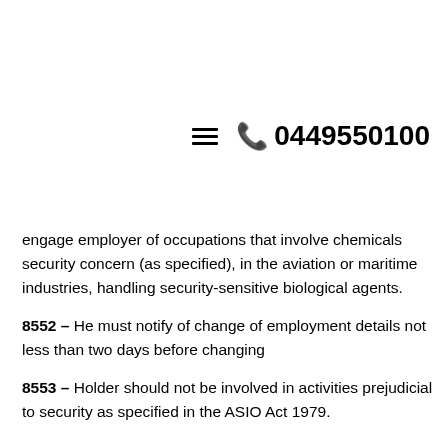[Figure (other): Navigation header with hamburger menu icon and phone number 0449550100]
engage employer of occupations that involve chemicals security concern (as specified), in the aviation or maritime industries, handling security-sensitive biological agents.
8552 – He must notify of change of employment details not less than two days before changing
8553 – Holder should not be involved in activities prejudicial to security as specified in the ASIO Act 1979.